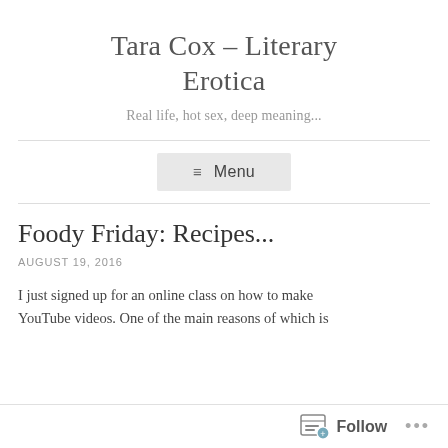Tara Cox – Literary Erotica
Real life, hot sex, deep meaning...
≡ Menu
Foody Friday: Recipes...
AUGUST 19, 2016
I just signed up for an online class on how to make YouTube videos. One of the main reasons of which is
Follow